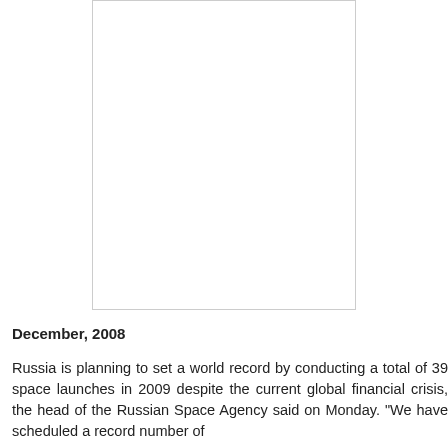[Figure (photo): A blank/white rectangular image placeholder with a light gray border, occupying the upper portion of the page.]
December, 2008
Russia is planning to set a world record by conducting a total of 39 space launches in 2009 despite the current global financial crisis, the head of the Russian Space Agency said on Monday. "We have scheduled a record number of